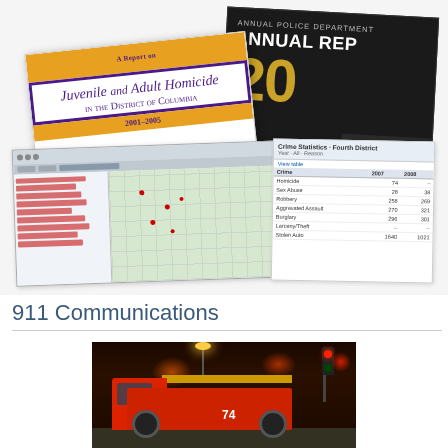[Figure (illustration): Collage of government/police department publications: a dark 'Annual Report' cover with gold '20' number, a 'Juvenile and Adult Homicide in the District of Columbia 2001-2005' book cover with yellow and purple design, a crime mapping website screenshot showing a map interface, and a crime statistics table for the Fourth District.]
911 Communications
[Figure (photo): Night-time photograph of a fire engine (truck number 74) at an intersection with red traffic lights and street lights illuminating the scene.]